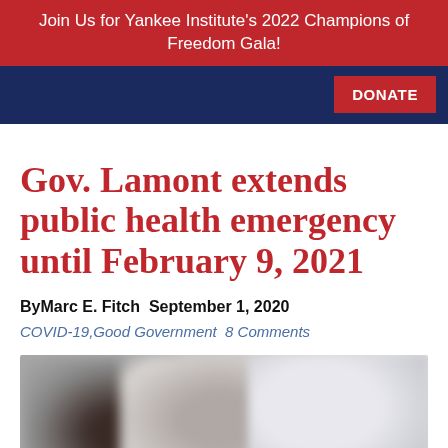Join Us for Yankee Institute's 2022 Champions of Freedom Gala!
[Figure (other): Navigation bar with dark blue background and red DONATE button on the right]
Gov. Lamont extends public health emergency until February 9, 2021
By Marc E. Fitch  September 1, 2020
COVID-19, Good Government  8 Comments
[Figure (photo): Blurred photo, partially visible, showing a person or people, details obscured]